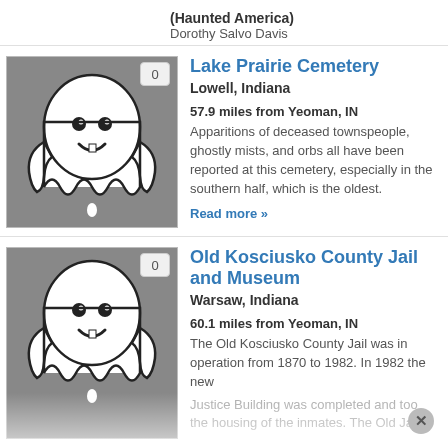(Haunted America)
Dorothy Salvo Davis
[Figure (illustration): Ghost illustration on grey background with badge showing 0]
Lake Prairie Cemetery
Lowell, Indiana
57.9 miles from Yeoman, IN
Apparitions of deceased townspeople, ghostly mists, and orbs all have been reported at this cemetery, especially in the southern half, which is the oldest.
Read more »
[Figure (illustration): Ghost illustration on grey background with badge showing 0]
Old Kosciusko County Jail and Museum
Warsaw, Indiana
60.1 miles from Yeoman, IN
The Old Kosciusko County Jail was in operation from 1870 to 1982. In 1982 the new Justice Building was completed and took the housing of the inmates. The Old Jail